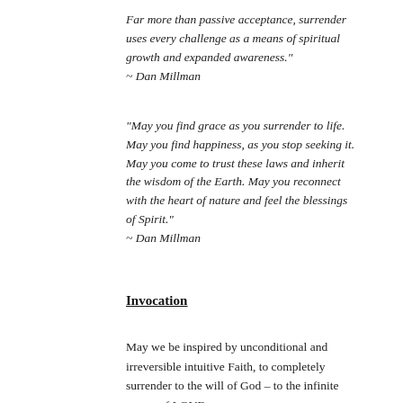Far more than passive acceptance, surrender uses every challenge as a means of spiritual growth and expanded awareness."
~ Dan Millman
"May you find grace as you surrender to life. May you find happiness, as you stop seeking it. May you come to trust these laws and inherit the wisdom of the Earth. May you reconnect with the heart of nature and feel the blessings of Spirit."
~ Dan Millman
Invocation
May we be inspired by unconditional and irreversible intuitive Faith, to completely surrender to the will of God – to the infinite power of LOVE.
And so may it be!
Ron Rattner